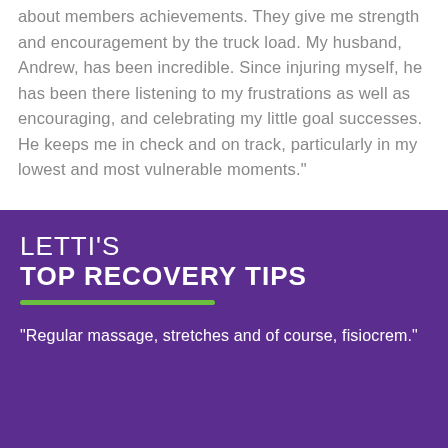about members achievements. They give me strength and encouragement by the truck load. My husband, Andrew, has been incredible. Since injuring myself, he has been there listening to my frustrations as well as encouraging, and celebrating my little goal successes. He keeps me in check and on track, particularly in my lowest and most vulnerable moments."
LETTI'S TOP RECOVERY TIPS
"Regular massage, stretches and of course, fisiocrem."